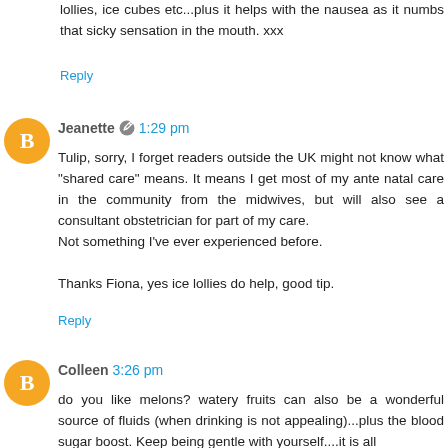lollies, ice cubes etc...plus it helps with the nausea as it numbs that sicky sensation in the mouth. xxx
Reply
Jeanette 1:29 pm
Tulip, sorry, I forget readers outside the UK might not know what "shared care" means. It means I get most of my ante natal care in the community from the midwives, but will also see a consultant obstetrician for part of my care.
Not something I've ever experienced before.

Thanks Fiona, yes ice lollies do help, good tip.
Reply
Colleen 3:26 pm
do you like melons? watery fruits can also be a wonderful source of fluids (when drinking is not appealing)...plus the blood sugar boost. Keep being gentle with yourself....it is all good protection. You are doing beautifully, just hang in